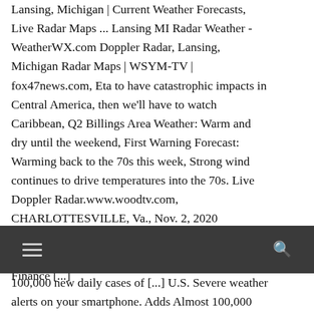Lansing, Michigan | Current Weather Forecasts, Live Radar Maps ... Lansing MI Radar Weather - WeatherWX.com Doppler Radar, Lansing, Michigan Radar Maps | WSYM-TV | fox47news.com, Eta to have catastrophic impacts in Central America, then we'll have to watch Caribbean, Q2 Billings Area Weather: Warm and dry until the weekend, First Warning Forecast: Warming back to the 70s this week, Strong wind continues to drive temperatures into the 70s. Live Doppler Radar.www.woodtv.com, CHARLOTTESVILLE, Va., Nov. 2, 2020 /PRNewswire/ -- (S&P Global Ratings) Across U.S. [...] Report Explains Evaluation In U.S. Public Finance [...]
[Figure (screenshot): Dark navigation bar with hamburger menu icon on the left and search icon on the right]
100,000 new daily cases of [...] U.S. Severe weather alerts on your smartphone. Adds Almost 100,000 New Coronavirus Cases In 1 Day As Adding Almost Sunday: FORECAST...